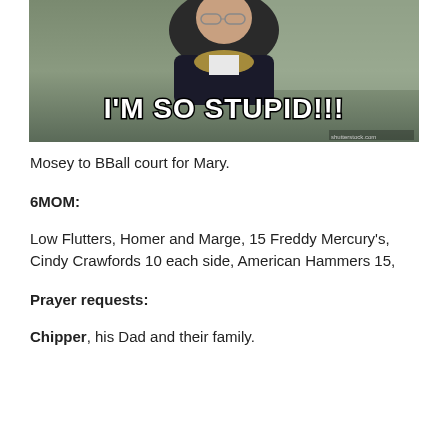[Figure (photo): Meme image of a man leaning forward with text 'I'M SO STUPID!!!' in white Impact font with black outline]
Mosey to BBall court for Mary.
6MOM:
Low Flutters, Homer and Marge, 15 Freddy Mercury's, Cindy Crawfords 10 each side, American Hammers 15,
Prayer requests:
Chipper, his Dad and their family.